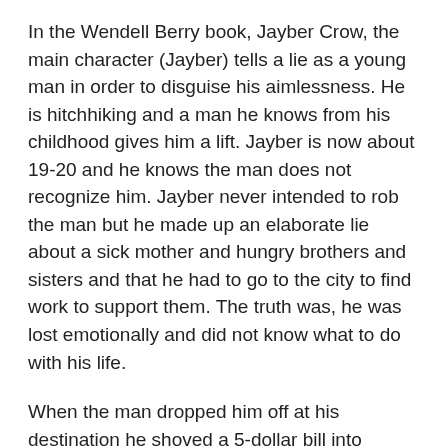In the Wendell Berry book, Jayber Crow, the main character (Jayber) tells a lie as a young man in order to disguise his aimlessness. He is hitchhiking and a man he knows from his childhood gives him a lift. Jayber is now about 19-20 and he knows the man does not recognize him. Jayber never intended to rob the man but he made up an elaborate lie about a sick mother and hungry brothers and sisters and that he had to go to the city to find work to support them. The truth was, he was lost emotionally and did not know what to do with his life.
When the man dropped him off at his destination he shoved a 5-dollar bill into Jayber’s jacket pocket. Jayber took the money, he needed it, but it was a liar’s wage and he knew it. The 5 dollars became a shameful burden for Jayber.